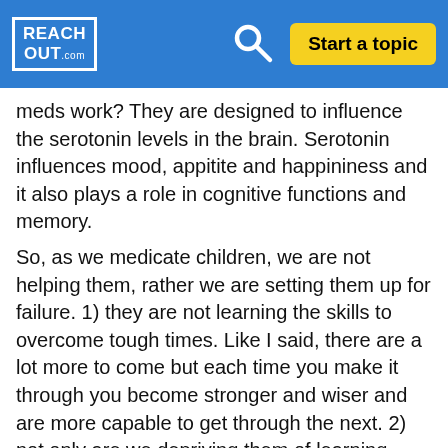REACHOUT.COM — Start a topic
meds work? They are designed to influence the serotonin levels in the brain. Serotonin influences mood, appitite and happininess and it also plays a role in cognitive functions and memory.
So, as we medicate children, we are not helping them, rather we are setting them up for failure. 1) they are not learning the skills to overcome tough times. Like I said, there are a lot more to come but each time you make it through you become stronger and wiser and are more capable to get through the next. 2) not only are we depriving them of learning important skills, we make it worse by tampering with their brains and ability to learn and have memeories. 3) who or what determines who they really are? Themsleves or the meds? 4) the likely hood of